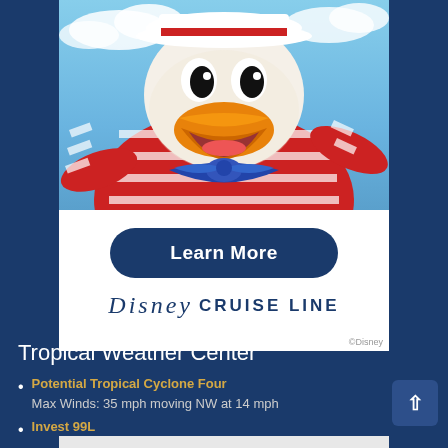[Figure (photo): Disney Cruise Line advertisement banner featuring Donald Duck character in red and white striped sailor outfit with blue bow tie, against a blue sky background. Contains a 'Learn More' button and Disney Cruise Line logo. ©Disney copyright notice.]
Tropical Weather Center
Potential Tropical Cyclone Four
Max Winds: 35 mph moving NW at 14 mph
Invest 99L